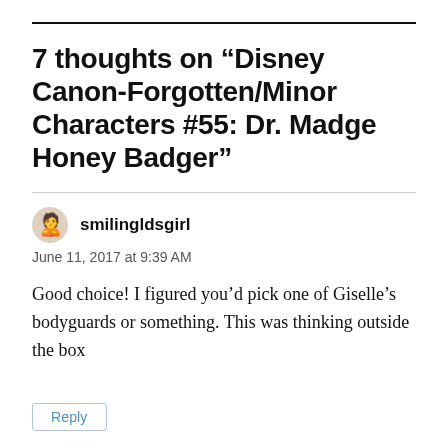7 thoughts on “Disney Canon-Forgotten/Minor Characters #55: Dr. Madge Honey Badger”
smilingldsgirl
June 11, 2017 at 9:39 AM
Good choice! I figured you’d pick one of Giselle’s bodyguards or something. This was thinking outside the box
Reply